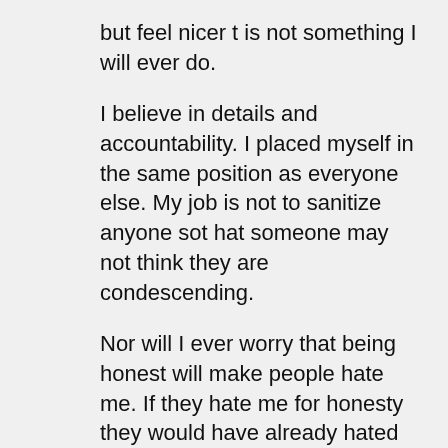but feel nicer t is not something I will ever do.
I believe in details and accountability. I placed myself in the same position as everyone else. My job is not to sanitize anyone sot hat someone may not think they are condescending.
Nor will I ever worry that being honest will make people hate me. If they hate me for honesty they would have already hated me. Not everyone will like me. I can live with that burden. My job isn't to be loved and to make friends. That's a bonus and that does make the job easier, sure, but if it means compromising integrity, no. I'll take the harder path every time if that path is the one with honesty and